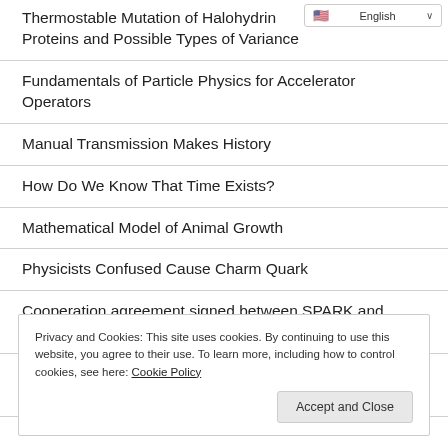Thermostable Mutation of Halohydrin Proteins and Possible Types of Variance
Fundamentals of Particle Physics for Accelerator Operators
Manual Transmission Makes History
How Do We Know That Time Exists?
Mathematical Model of Animal Growth
Physicists Confused Cause Charm Quark
Cooperation agreement signed between SPARK and ATSO
.bit Raises $13M To Create Cross-Chain Decentralized Identity Protocol
Privacy and Cookies: This site uses cookies. By continuing to use this website, you agree to their use. To learn more, including how to control cookies, see here: Cookie Policy
Accept and Close